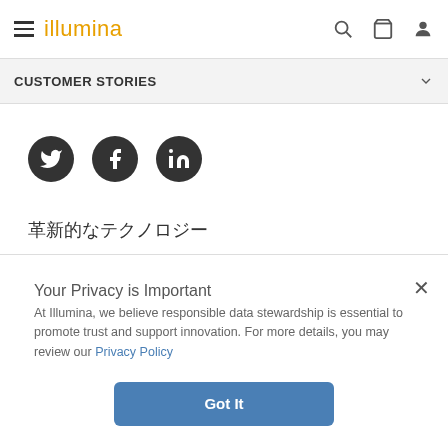illumina
CUSTOMER STORIES
[Figure (other): Social media share icons: Twitter, Facebook, LinkedIn — dark circular buttons on white background]
革新的なテクノロジー
Your Privacy is Important
At Illumina, we believe responsible data stewardship is essential to promote trust and support innovation. For more details, you may review our Privacy Policy
Got It